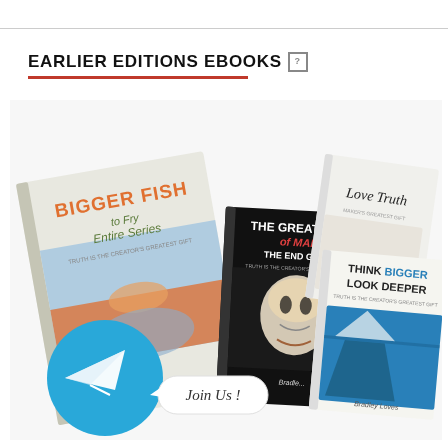EARLIER EDITIONS EBOOKS
[Figure (illustration): Collection of book covers: 'BIGGER FISH to Fry Entire Series', 'THE GREAT CON of MAN THE END GAME' by Bradley Loves, 'Love Truth', 'THINK BIGGER LOOK DEEPER' by Bradley Loves. A Telegram logo circle with paper plane icon and a speech bubble saying 'Join Us !' overlaid at the bottom left.]